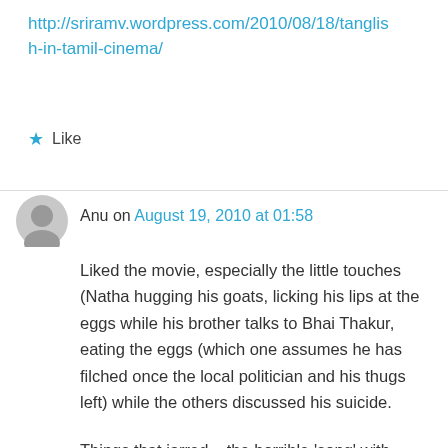http://sriramv.wordpress.com/2010/08/18/tanglish-in-tamil-cinema/
★ Like
Anu on August 19, 2010 at 01:58
Liked the movie, especially the little touches (Natha hugging his goats, licking his lips at the eggs while his brother talks to Bhai Thakur, eating the eggs (which one assumes he has filched once the local politician and his thugs left) while the others discussed his suicide.
Things that jarred – the horrible 'song' with almost western orchestration that accompanied Hori Mohato's death; and the Hindi reporter's